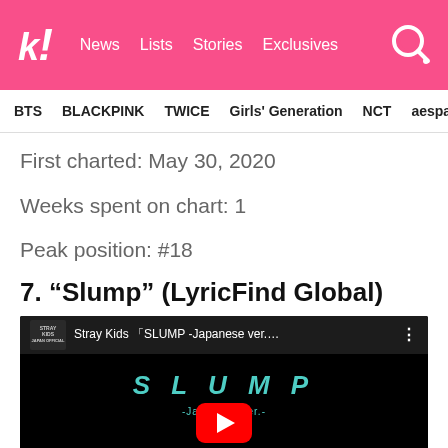k! News Lists Stories Exclusives
BTS BLACKPINK TWICE Girls' Generation NCT aespa
First charted: May 30, 2020
Weeks spent on chart: 1
Peak position: #18
7. “Slump” (LyricFind Global)
[Figure (screenshot): YouTube video thumbnail for Stray Kids SLUMP -Japanese ver.- showing teal SLUMP text on black background with red YouTube play button]